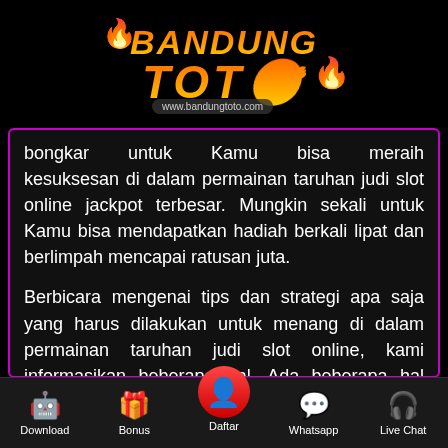[Figure (logo): Bandung Toto logo with flame graphics and URL www.bandungtoto.com]
bongkar untuk Kamu bisa meraih kesuksesan di dalam permainan taruhan judi slot online jackpot terbesar. Mungkin sekali untuk Kamu bisa mendapatkan hadiah berkali lipat dan berlimpah mencapai ratusan juta.

Berbicara mengenai tips dan strategi apa saja yang harus dilakukan untuk menang di dalam permainan taruhan judi slot online, kami informasikan beberapa hal. Ada beberapa hal yang harus dipahami oleh para player coba digunakan. Berikut adalah beberapa diantaranya:
Download  Bonus  Daftar  Whatsapp  Live Chat